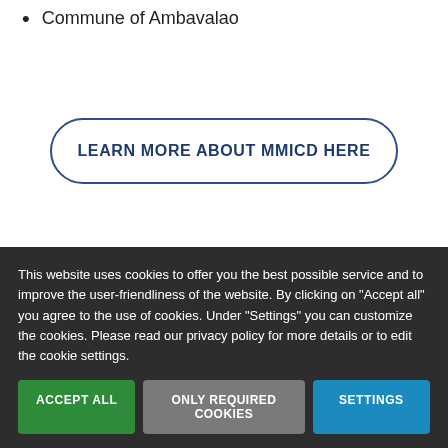Commune of Ambavalao
LEARN MORE ABOUT MMICD HERE
Autres projets
This website uses cookies to offer you the best possible service and to improve the user-friendliness of the website. By clicking on "Accept all" you agree to the use of cookies. Under "Settings" you can customize the cookies. Please read our privacy policy for more details or to edit the cookie settings.
ACCEPT ALL | ONLY REQUIRED COOKIES | SETTINGS